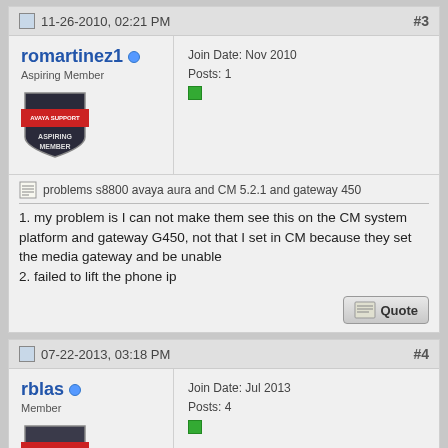11-26-2010, 02:21 PM   #3
romartinez1
Aspiring Member
Join Date: Nov 2010
Posts: 1
problems s8800 avaya aura and CM 5.2.1 and gateway 450
1. my problem is I can not make them see this on the CM system platform and gateway G450, not that I set in CM because they set the media gateway and be unable
2. failed to lift the phone ip
07-22-2013, 03:18 PM   #4
rblas
Member
Join Date: Jul 2013
Posts: 4